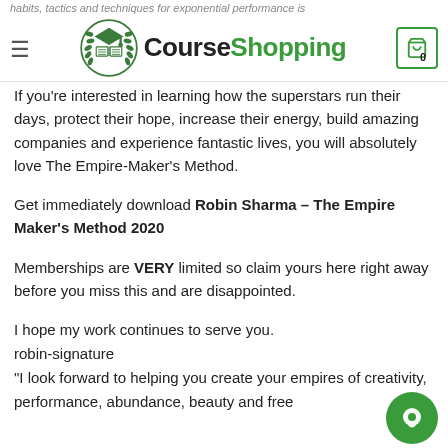CourseShopping
If you’re interested in learning how the superstars run their days, protect their hope, increase their energy, build amazing companies and experience fantastic lives, you will absolutely love The Empire-Maker’s Method.
Get immediately download Robin Sharma – The Empire Maker’s Method 2020
Memberships are VERY limited so claim yours here right away before you miss this and are disappointed.
I hope my work continues to serve you.
robin-signature
“I look forward to helping you create your empires of creativity, performance, abundance, beauty and free…